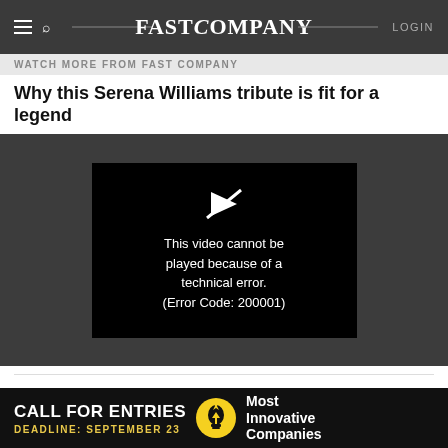FAST COMPANY  LOGIN
WATCH MORE FROM FAST COMPANY
Why this Serena Williams tribute is fit for a legend
[Figure (screenshot): Video player showing error message: 'This video cannot be played because of a technical error. (Error Code: 200001)']
Pocket (Android, iOS) is the go-to app for all the web...
[Figure (infographic): Advertisement banner: CALL FOR ENTRIES / DEADLINE: SEPTEMBER 23 / Most Innovative Companies]